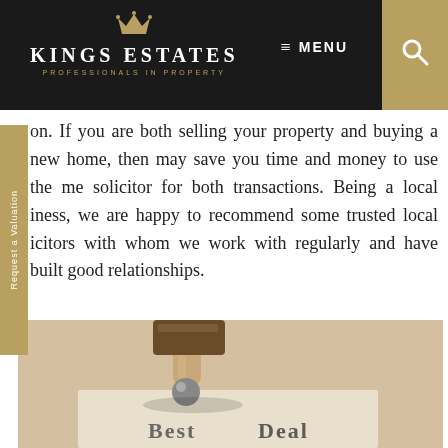Kings Estates — Professionals in Property
on. If you are both selling your property and buying a new home, then may save you time and money to use the me solicitor for both transactions. Being a local iness, we are happy to recommend some trusted local icitors with whom we work with regularly and have built good relationships.
[Figure (photo): Close-up photo of rubber stamps lying on a document with text 'Best Deal' visible at the bottom]